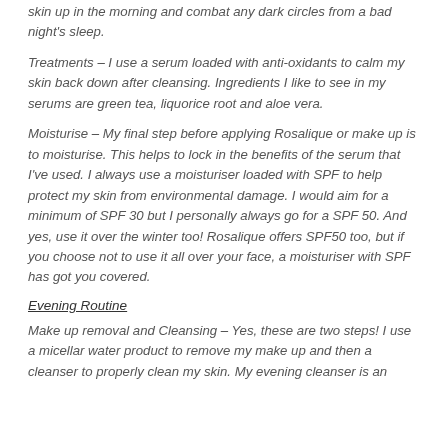skin up in the morning and combat any dark circles from a bad night's sleep.
Treatments – I use a serum loaded with anti-oxidants to calm my skin back down after cleansing. Ingredients I like to see in my serums are green tea, liquorice root and aloe vera.
Moisturise – My final step before applying Rosalique or make up is to moisturise. This helps to lock in the benefits of the serum that I've used. I always use a moisturiser loaded with SPF to help protect my skin from environmental damage. I would aim for a minimum of SPF 30 but I personally always go for a SPF 50. And yes, use it over the winter too! Rosalique offers SPF50 too, but if you choose not to use it all over your face, a moisturiser with SPF has got you covered.
Evening Routine
Make up removal and Cleansing – Yes, these are two steps! I use a micellar water product to remove my make up and then a cleanser to properly clean my skin. My evening cleanser is an